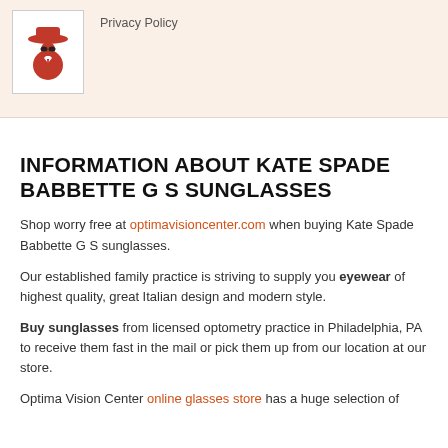[Figure (illustration): Red/orange icon of a spy or detective figure wearing a hat, inside a white bordered box on a beige/cream background banner]
Privacy Policy
INFORMATION ABOUT KATE SPADE BABBETTE G S SUNGLASSES
Shop worry free at optimavisioncenter.com when buying Kate Spade Babbette G S sunglasses.
Our established family practice is striving to supply you eyewear of highest quality, great Italian design and modern style.
Buy sunglasses from licensed optometry practice in Philadelphia, PA to receive them fast in the mail or pick them up from our location at our store.
Optima Vision Center online glasses store has a huge selection of